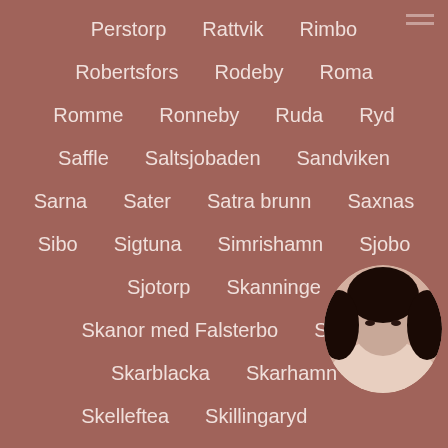Perstorp
Rattvik
Rimbo
Robertsfors
Rodeby
Roma
Romme
Ronneby
Ruda
Ryd
Saffle
Saltsjobaden
Sandviken
Sarna
Sater
Satra brunn
Saxnas
Sibo
Sigtuna
Simrishamn
Sjobo
Sjotorp
Skanninge
Skanor med Falsterbo
Skara
Skarblacka
Skarhamn
Skelleftea
Skillingaryd
Skinnskatteberg
Skruv
Skurup
[Figure (photo): Circular avatar photo of a woman]